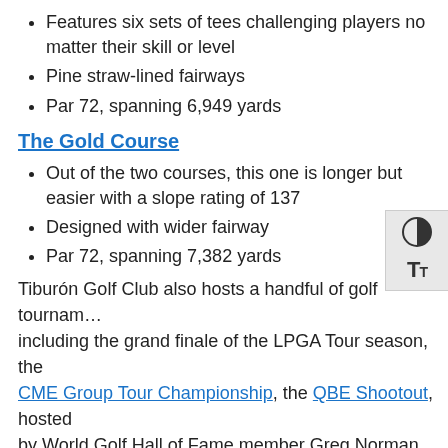Features six sets of tees challenging players no matter their skill or level
Pine straw-lined fairways
Par 72, spanning 6,949 yards
The Gold Course
Out of the two courses, this one is longer but easier with a slope rating of 137
Designed with wider fairway
Par 72, spanning 7,382 yards
Tiburón Golf Club also hosts a handful of golf tournaments including the grand finale of the LPGA Tour season, the CME Group Tour Championship, the QBE Shootout, hosted by World Golf Hall of Fame member Greg Norman, and the Chubb Classic.
Designated by the Audubon International, Tiburón Golf